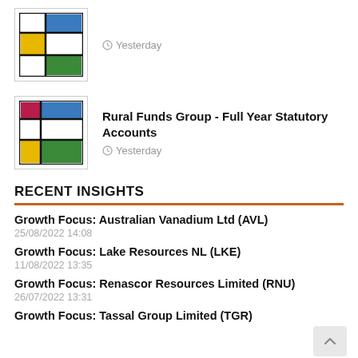[Figure (logo): Mondrian-style grid logo with red, blue, yellow, green squares - top item]
Yesterday
[Figure (logo): Mondrian-style grid logo with red, blue, yellow, green squares - Rural Funds Group]
Rural Funds Group - Full Year Statutory Accounts
Yesterday
RECENT INSIGHTS
Growth Focus: Australian Vanadium Ltd (AVL)
25/08/2022 14:08
Growth Focus: Lake Resources NL (LKE)
11/08/2022 13:35
Growth Focus: Renascor Resources Limited (RNU)
26/07/2022 13:31
Growth Focus: Tassal Group Limited (TGR)